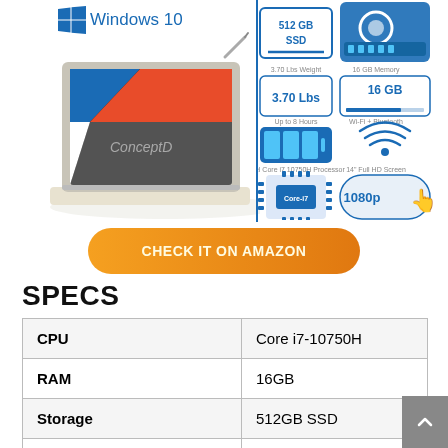[Figure (photo): Acer ConceptD laptop shown in tent mode, white chassis, with stylus, running Windows 10. Right side shows product spec icons: 512GB SSD, 16GB Memory, 3.70 Lbs weight, battery/WiFi icons, Core i7 processor, 1080p screen.]
[Figure (infographic): Orange gradient rounded rectangle button with text: CHECK IT ON AMAZON]
SPECS
| CPU | Core i7-10750H |
| RAM | 16GB |
| Storage | 512GB SSD |
| Operating |  |